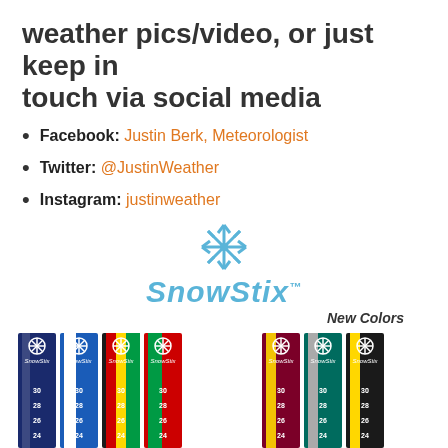weather pics/video, or just keep in touch via social media
Facebook: Justin Berk, Meteorologist
Twitter: @JustinWeather
Instagram: justinweather
[Figure (logo): SnowStix logo with snowflake icon and stylized blue italic text]
[Figure (photo): SnowStix snow measurement sticks in various colors: navy/white, blue/white, Maryland flag, red/green, and new colors maroon/yellow, teal/gray, black/yellow]